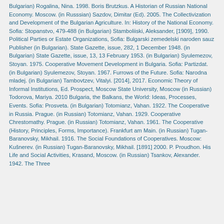Bulgarian) Rogalina, Nina. 1998. Boris Brutzkus. A Historian of Russian National Economy. Moscow. (in Russsian) Sazdov, Dimitar (Ed). 2005. The Collectivization and Development of the Bulgarian Agriculture. In: History of the National Economy. Sofia: Stopanstvo, 479-488 (in Bulgarian) Stamboliiski, Aleksander, [1909], 1990. Political Parties or Estate Organizations, Sofia: Bulgarski zemedelski naroden sauz Publisher (in Bulgarian). State Gazette, issue, 282, 1 December 1948. (in Bulgarian) State Gazette, issue, 13, 13 February 1953. (in Bulgarian) Syulemezov, Stoyan. 1975. Cooperative Movement Development in Bulgaria. Sofia: Partizdat. (in Bulgarian) Syulemezov, Stoyan. 1967. Furrows of the Future. Sofia: Narodna mladej. (in Bulgarian) Tambovtzev, Vitalyi. [2014], 2017. Economic Theory of Informal Institutions, Ed. Prospect, Moscow State University, Moscow (in Russian) Todorova, Mariya. 2010 Bulgaria, the Balkans, the World: Ideas, Processes, Events. Sofia: Prosveta. (in Bulgarian) Totomianz, Vahan. 1922. The Cooperative in Russia. Prague. (in Russian) Totomianz, Vahan. 1929. Cooperative Chrestomathy. Prague. (in Russian) Totomianz, Vahan. 1961. The Cooperative (History, Principles, Forms, Importance). Frankfurt am Main. (in Russian) Tugan-Baranovsky, Mikhail. 1916. The Social Foundations of Cooperatives. Moscow: Kušnerev. (in Russian) Tugan-Baranovsky, Mikhail. [1891] 2000. P. Proudhon. His Life and Social Activities, Krasand, Moscow. (in Russian) Tsankov, Alexander. 1942. The Three...